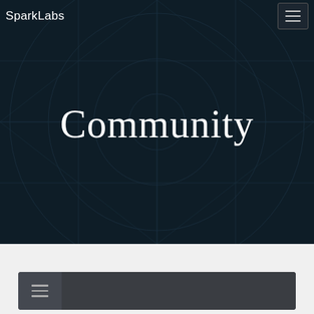SparkLabs
[Figure (illustration): Dark navy hero background with geometric circular and grid line pattern overlay in subtle dark teal/blue tones]
Community
[Figure (screenshot): Bottom navigation bar with hamburger menu icon on dark gray background]